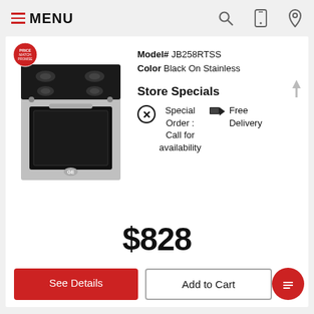MENU
[Figure (photo): A GE electric range stove with black cooktop and stainless steel body, with a price-match badge in the upper left corner of the image.]
Model# JB258RTSS
Color Black On Stainless
Store Specials
Special Order : Call for availability
Free Delivery
$828
See Details
Add to Cart